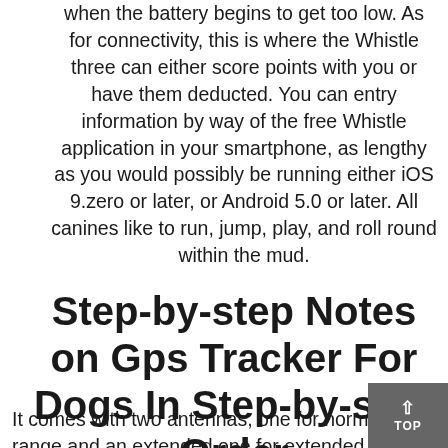when the battery begins to get too low. As for connectivity, this is where the Whistle three can either score points with you or have them deducted. You can entry information by way of the free Whistle application in your smartphone, as lengthy as you would possibly be running either iOS 9.zero or later, or Android 5.0 or later. All canines like to run, jump, play, and roll round within the mud.
Step-by-step Notes on Gps Tracker For Dogs In Step-by-step Order
It comes with two antennas, one for normal range and an extended one for extended vary. This is